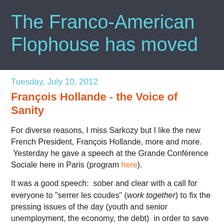The Franco-American Flophouse has moved
Tuesday, July 10, 2012
François Hollande - the Voice of Sanity
For diverse reasons, I miss Sarkozy but I like the new French President, François Hollande, more and more.  Yesterday he gave a speech at the Grande Conférence Sociale here in Paris (program here).
It was a good speech:  sober and clear with a call for everyone to "serrer les coudes" (work together) to fix the pressing issues of the day (youth and senior unemployment, the economy, the debt)  in order to save the things that matter like the future generation, a fair and...